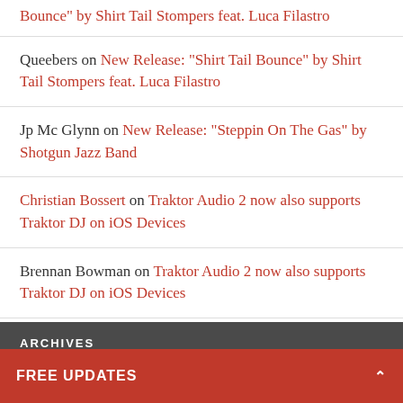Queebers on New Release: “Shirt Tail Bounce” by Shirt Tail Stompers feat. Luca Filastro
Jp Mc Glynn on New Release: “Steppin On The Gas” by Shotgun Jazz Band
Christian Bossert on Traktor Audio 2 now also supports Traktor DJ on iOS Devices
Brennan Bowman on Traktor Audio 2 now also supports Traktor DJ on iOS Devices
ARCHIVES
FREE UPDATES